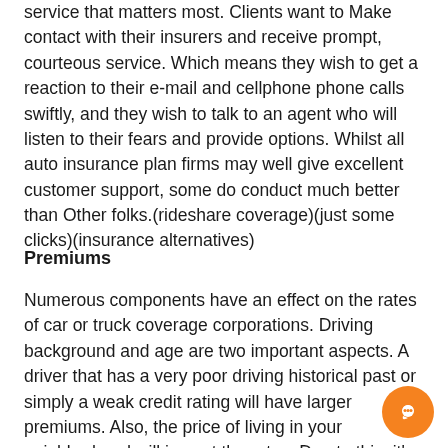service that matters most. Clients want to Make contact with their insurers and receive prompt, courteous service. Which means they wish to get a reaction to their e-mail and cellphone phone calls swiftly, and they wish to talk to an agent who will listen to their fears and provide options. Whilst all auto insurance plan firms may well give excellent customer support, some do conduct much better than Other folks.(rideshare coverage)(just some clicks)(insurance alternatives)
Premiums
Numerous components have an effect on the rates of car or truck coverage corporations. Driving background and age are two important aspects. A driver that has a very poor driving historical past or simply a weak credit rating will have larger premiums. Also, the price of living in your neighborhood will impact the rates. Due to this, it's important to check the rates of various insurance coverage